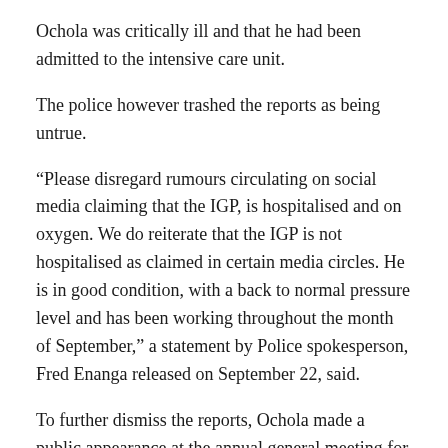Ochola was critically ill and that he had been admitted to the intensive care unit.
The police however trashed the reports as being untrue.
“Please disregard rumours circulating on social media claiming that the IGP, is hospitalised and on oxygen. We do reiterate that the IGP is not hospitalised as claimed in certain media circles. He is in good condition, with a back to normal pressure level and has been working throughout the month of September,” a statement by Police spokesperson, Fred Enanga released on September 22, said.
To further dismiss the reports, Ochola made a public appearance at the annual general meeting for the Police Directorate of Health Service held at Police headquarters in Naguru.
A number of people have in the past been arrested and